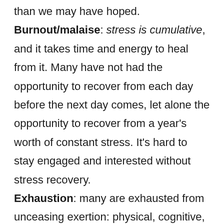than we may have hoped.
Burnout/malaise: stress is cumulative, and it takes time and energy to heal from it. Many have not had the opportunity to recover from each day before the next day comes, let alone the opportunity to recover from a year's worth of constant stress. It's hard to stay engaged and interested without stress recovery.
Exhaustion: many are exhausted from unceasing exertion: physical, cognitive, and emotional. We may be sleeping a lot more, not feeling restored after sleep, and too drained to participate in our